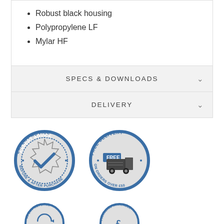Robust black housing
Polypropylene LF
Mylar HF
SPECS & DOWNLOADS
DELIVERY
[Figure (illustration): Expert Advice badge - circular blue bordered badge with checkmark and text 'EXPERT ADVICE · BEFORE & AFTER PURCHASE']
[Figure (illustration): Free Delivery badge - circular blue bordered badge with delivery van and text 'FREE DELIVERY · ON ORDERS OVER £50']
[Figure (illustration): 60 Day Returns badge - partially visible circular blue badge at bottom left]
[Figure (illustration): Financing Available badge - partially visible circular blue badge at bottom right]